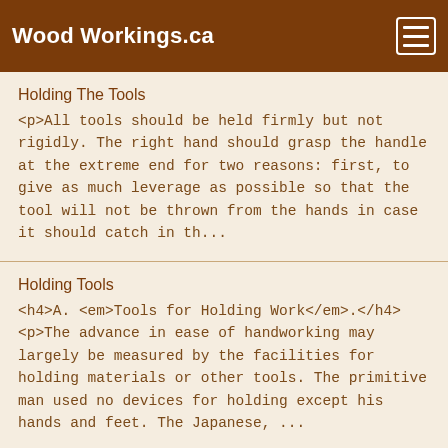Wood Workings.ca
Holding The Tools
<p>All tools should be held firmly but not rigidly. The right hand should grasp the handle at the extreme end for two reasons: first, to give as much leverage as possible so that the tool will not be thrown from the hands in case it should catch in th...
Holding Tools
<h4>A. <em>Tools for Holding Work</em>.</h4> <p>The advance in ease of handworking may largely be measured by the facilities for holding materials or other tools. The primitive man used no devices for holding except his hands and feet. The Japanese, ...
Inserting Locks
<p>To insert a <em>rim-lock</em>, measure the distance from the selvage to the key-pin, locate this as the center of the keyhole, and bore the hole. If the lock